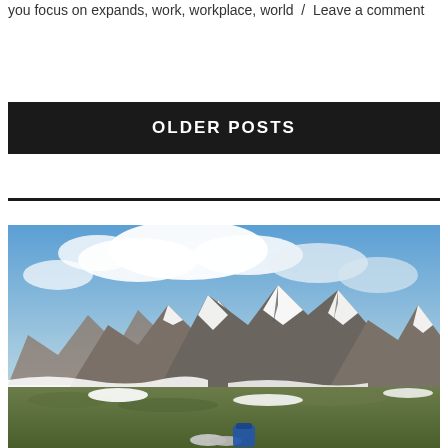you focus on expands, work, workplace, world / Leave a comment
OLDER POSTS
[Figure (photo): Mountain landscape with snow-capped peaks under a partly cloudy blue sky. Green grassy terrain in the foreground with snow patches, and a person resting/sitting visible at the bottom with a blue backpack.]